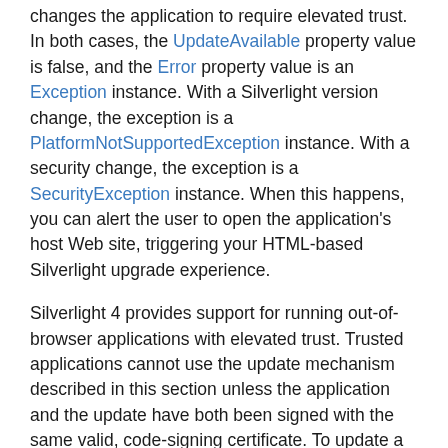changes the application to require elevated trust. In both cases, the UpdateAvailable property value is false, and the Error property value is an Exception instance. With a Silverlight version change, the exception is a PlatformNotSupportedException instance. With a security change, the exception is a SecurityException instance. When this happens, you can alert the user to open the application's host Web site, triggering your HTML-based Silverlight upgrade experience.
Silverlight 4 provides support for running out-of-browser applications with elevated trust. Trusted applications cannot use the update mechanism described in this section unless the application and the update have both been signed with the same valid, code-signing certificate. To update a trusted application that does not have a valid signature, users must uninstall the old version and install the new version manually. For more information, see Trusted Applications.